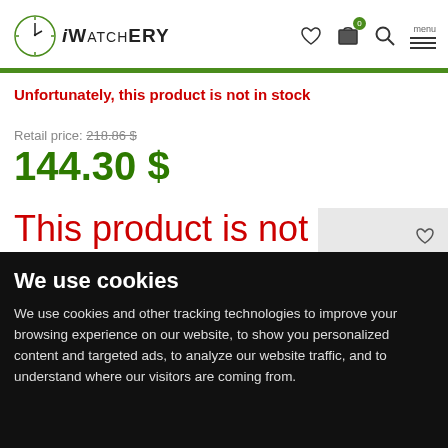iWatchery — navigation header with logo, heart icon, cart (0), search, and menu
Unfortunately, this product is not in stock
Retail price: 218.86 $
144.30 $
This product is not
We use cookies
We use cookies and other tracking technologies to improve your browsing experience on our website, to show you personalized content and targeted ads, to analyze our website traffic, and to understand where our visitors are coming from.